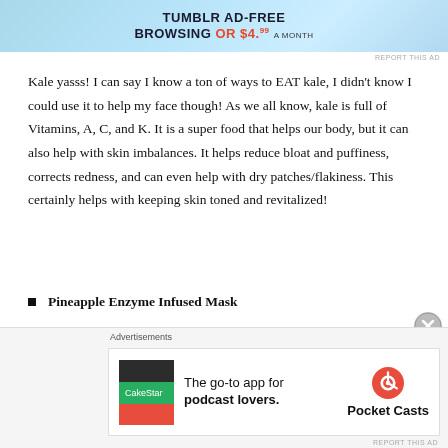[Figure (screenshot): Tumblr ad banner for ad-free browsing]
Kale yasss! I can say I know a ton of ways to EAT kale, I didn't know I could use it to help my face though! As we all know, kale is full of Vitamins, A, C, and K. It is a super food that helps our body, but it can also help with skin imbalances. It helps reduce bloat and puffiness, corrects redness, and can even help with dry patches/flakiness. This certainly helps with keeping skin toned and revitalized!
Pineapple Enzyme Infused Mask
I loooove pineapples, and now I love putting them on my face! I had no idea it had an enzyme (bromelain) that acts as an all natural exfoliator, breaking down the keratin protein in dead skin cells. This reveals a new layer of skin and helps get rid of discoloration, leaving you with bright and renewed skin. My face felt so soft after this one!
[Figure (screenshot): Pocket Casts advertisement: The go-to app for podcast lovers.]